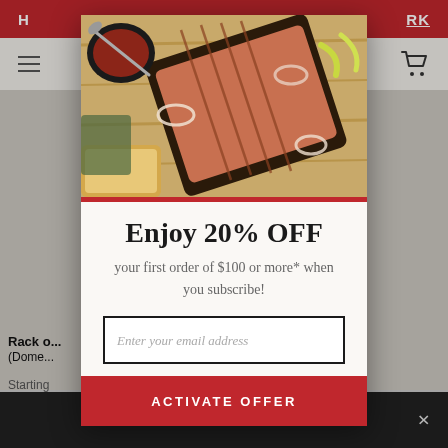H... RK
[Figure (photo): BBQ brisket sliced on a wooden cutting board with pickled peppers, onion rings, and a small bowl of BBQ sauce with spoon]
Enjoy 20% OFF
your first order of $100 or more* when you subscribe!
Enter your email address
ACTIVATE OFFER
Rack o... (Dome...
Starting...